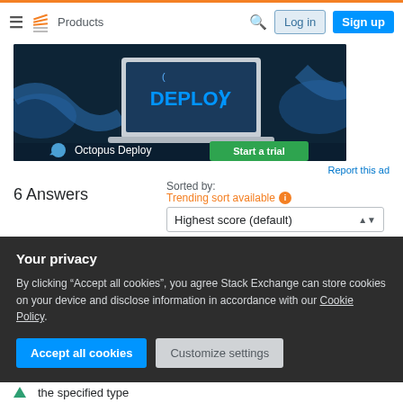≡  [Stack Overflow logo]  Products  🔍  Log in  Sign up
[Figure (screenshot): Octopus Deploy advertisement banner with dark blue background showing a laptop with 'DEPLOY' text and octopus imagery. Green 'Start a trial' button and Octopus Deploy logo/text.]
Report this ad
Sorted by:
6 Answers
Trending sort available ℹ
Highest score (default)
Your privacy
By clicking "Accept all cookies", you agree Stack Exchange can store cookies on your device and disclose information in accordance with our Cookie Policy.
Accept all cookies
Customize settings
the specified type